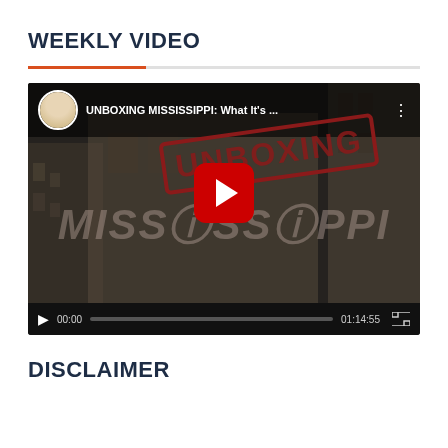WEEKLY VIDEO
[Figure (screenshot): YouTube video player showing 'UNBOXING MISSISSIPPI: What It's ...' with a red play button, video duration 01:14:55, showing a building background with UNBOXING stamp overlay and MISSISSIPPI watermark text]
DISCLAIMER